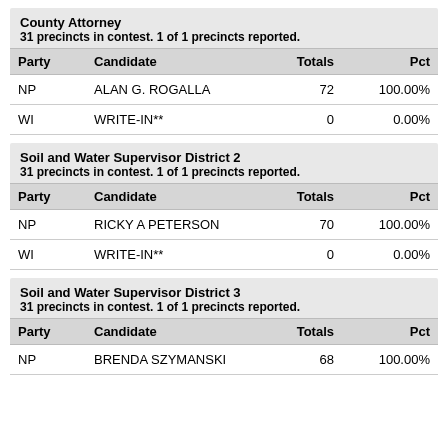| Party | Candidate | Totals | Pct |
| --- | --- | --- | --- |
| NP | ALAN G. ROGALLA | 72 | 100.00% |
| WI | WRITE-IN** | 0 | 0.00% |
| Party | Candidate | Totals | Pct |
| --- | --- | --- | --- |
| NP | RICKY A PETERSON | 70 | 100.00% |
| WI | WRITE-IN** | 0 | 0.00% |
| Party | Candidate | Totals | Pct |
| --- | --- | --- | --- |
| NP | BRENDA SZYMANSKI | 68 | 100.00% |